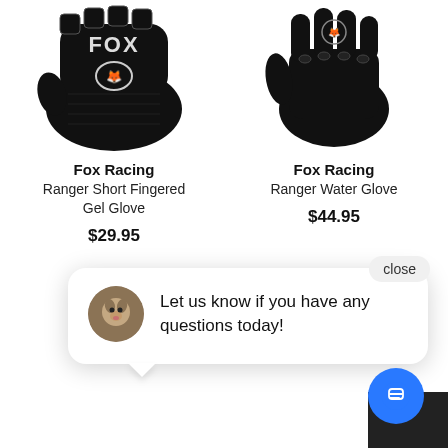[Figure (photo): Fox Racing black fingerless cycling glove with FOX logo and fox head emblem, shown palm side up]
[Figure (photo): Fox Racing black full-finger Ranger Water Glove shown from back, fingers pointing up]
Fox Racing
Ranger Short Fingered Gel Glove
$29.95
Fox Racing
Ranger Water Glove
$44.95
close
Let us know if you have any questions today!
Page 1 of 7